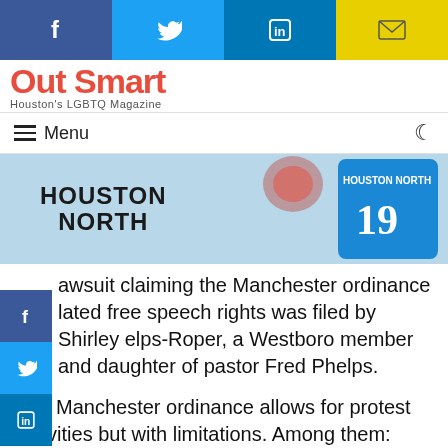Social share bar: Facebook, Twitter, LinkedIn, Email
[Figure (logo): Out Smart Houston's LGBTQ Magazine logo]
Menu navigation bar with hamburger icon and moon/dark-mode icon
[Figure (photo): Houston North advertisement banner with mascot in jersey number 19]
lawsuit claiming the Manchester ordinance lated free speech rights was filed by Shirley elps-Roper, a Westboro member and daughter of pastor Fred Phelps.
The Manchester ordinance allows for protest activities but with limitations. Among them: Protesters are not allowed within 300 feet (10 meters) of a funeral or burial service while it is